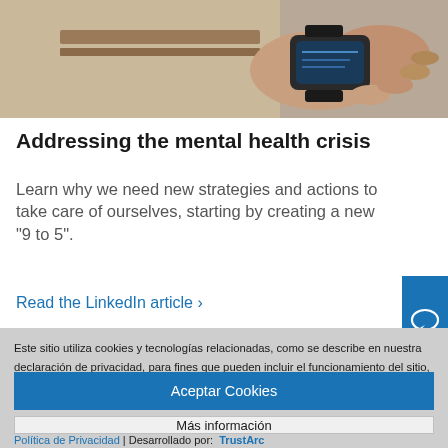[Figure (photo): Photo of a person's hands holding a smartwatch or device, wearing a beige/cream colored jacket, close-up shot]
Addressing the mental health crisis
Learn why we need new strategies and actions to take care of ourselves, starting by creating a new "9 to 5".
Read the LinkedIn article ›
Este sitio utiliza cookies y tecnologías relacionadas, como se describe en nuestra declaración de privacidad, para fines que pueden incluir el funcionamiento del sitio, análisis, mejora de la experiencia del usuario o publicidad. Puede optar por aceptar el uso de estas tecnologías, o bien puede gestionar sus propias preferencias.
Aceptar Cookies
Más información
Política de Privacidad | Desarrollado por: TrustArc